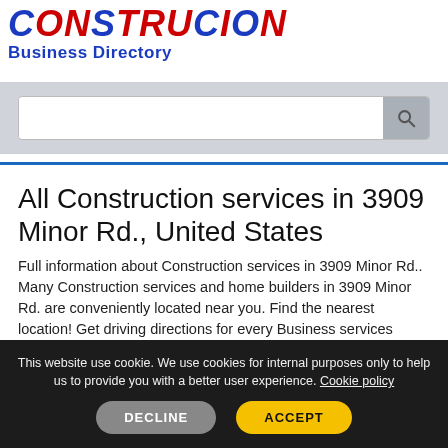CONSTRUCION Business Directory
All Construction services in 3909 Minor Rd., United States
Full information about Construction services in 3909 Minor Rd.. Many Construction services and home builders in 3909 Minor Rd. are conveniently located near you. Find the nearest location! Get driving directions for every Business services location in 3909 Minor Rd.. Write a review to rate commercial construction companies. Get customer phone numbers, opening hours for every home decorating and remodeling
This website use cookie. We use cookies for internal purposes only to help us to provide you with a better user experience. Cookie policy